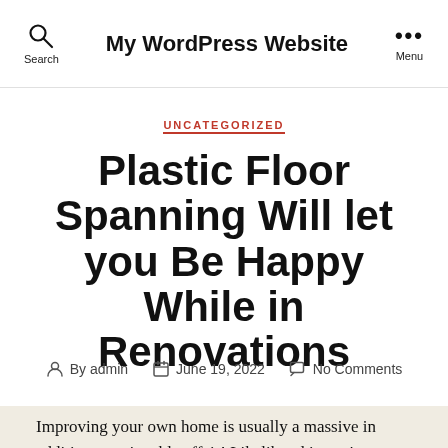My WordPress Website
UNCATEGORIZED
Plastic Floor Spanning Will let you Be Happy While in Renovations
By admin   June 19, 2022   No Comments
Improving your own home is usually a massive in addition to enjoyable affair! Likelihood is you've got